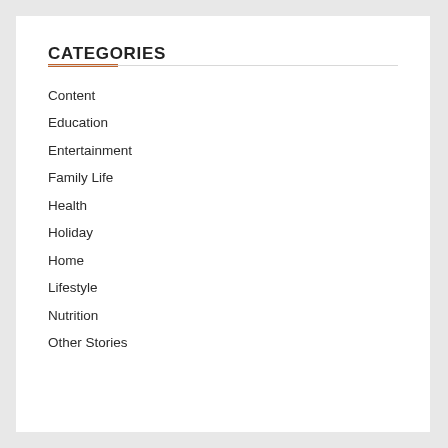CATEGORIES
Content
Education
Entertainment
Family Life
Health
Holiday
Home
Lifestyle
Nutrition
Other Stories